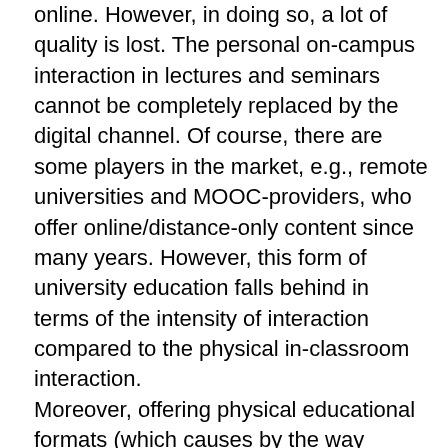online. However, in doing so, a lot of quality is lost. The personal on-campus interaction in lectures and seminars cannot be completely replaced by the digital channel. Of course, there are some players in the market, e.g., remote universities and MOOC-providers, who offer online/distance-only content since many years. However, this form of university education falls behind in terms of the intensity of interaction compared to the physical in-classroom interaction.
Moreover, offering physical educational formats (which causes by the way significantly higher costs regarding teaching personnel and facilities) constitutes a particularly high quality of higher education which you may enjoy during your studies and in thriving for your university degree.
Certainly, we will use digital formats in one or the other way also in the future. In particular for individual one-on-one meetings with thesis supervisors or meetings in small